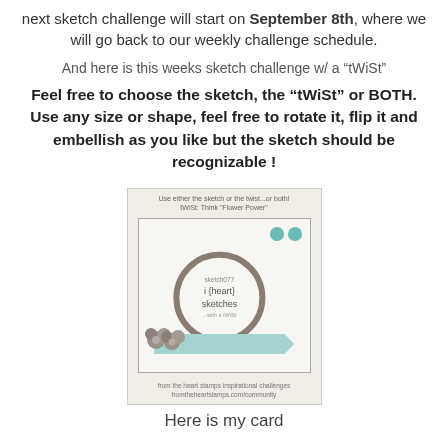next sketch challenge will start on September 8th, where we will go back to our weekly challenge schedule.
And here is this weeks sketch challenge w/ a “tWiSt”
Feel free to choose the sketch, the “tWiSt” or BOTH. Use any size or shape, feel free to rotate it, flip it and embellish as you like but the sketch should be recognizable !
[Figure (illustration): Sketch challenge card image with title 'sketch077 i {heart} sketches ...with a tWiSt', featuring a circular brown ring, two teal dots, grey flowers, a teal ribbon banner, and text headers/footers about the challenge.]
Here is my card